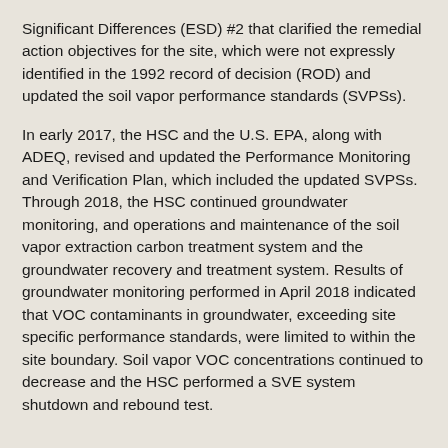Significant Differences (ESD) #2 that clarified the remedial action objectives for the site, which were not expressly identified in the 1992 record of decision (ROD) and updated the soil vapor performance standards (SVPSs).
In early 2017, the HSC and the U.S. EPA, along with ADEQ, revised and updated the Performance Monitoring and Verification Plan, which included the updated SVPSs. Through 2018, the HSC continued groundwater monitoring, and operations and maintenance of the soil vapor extraction carbon treatment system and the groundwater recovery and treatment system. Results of groundwater monitoring performed in April 2018 indicated that VOC contaminants in groundwater, exceeding site specific performance standards, were limited to within the site boundary. Soil vapor VOC concentrations continued to decrease and the HSC performed a SVE system shutdown and rebound test.